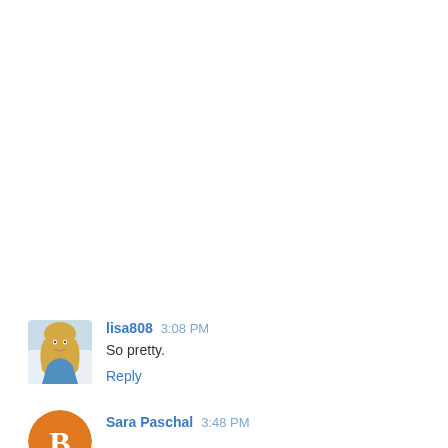[Figure (photo): Avatar photo of user lisa808 - woman with blonde hair wearing blue top]
lisa808  3:08 PM
So pretty.
Reply
[Figure (illustration): Avatar icon for Sara Paschal - orange/gold circle with blogger icon]
Sara Paschal  3:48 PM